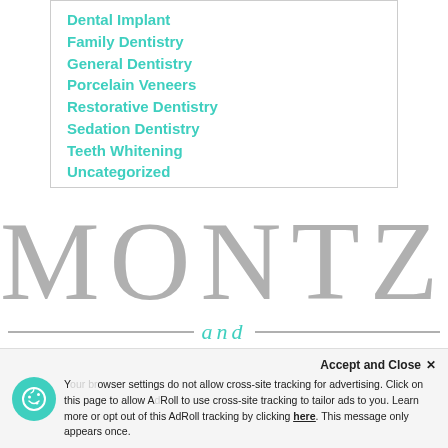Dental Implant
Family Dentistry
General Dentistry
Porcelain Veneers
Restorative Dentistry
Sedation Dentistry
Teeth Whitening
Uncategorized
[Figure (logo): Montz and Maher dental practice logo in large serif gray letters with teal 'and' in the middle, flanked by horizontal lines]
Accept and Close ✕
Your browser settings do not allow cross-site tracking for advertising. Click on this page to allow AdRoll to use cross-site tracking to tailor ads to you. Learn more or opt out of this AdRoll tracking by clicking here. This message only appears once.